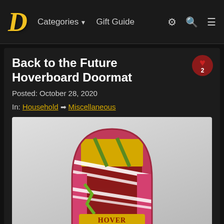Categories ▼   Gift Guide
Back to the Future Hoverboard Doormat
Posted: October 28, 2020
In: Household → Miscellaneous
[Figure (photo): Product photo of a Back to the Future Hoverboard Doormat — an arched-top rug shaped like Marty McFly's hoverboard, featuring pink, dark red, gold/yellow, white stripe, and green design elements with HOVER BOARD text on a yellow band.]